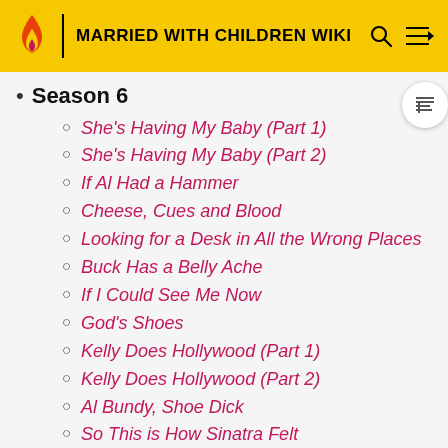MARRIED WITH CHILDREN WIKI
Season 6
She's Having My Baby (Part 1)
She's Having My Baby (Part 2)
If Al Had a Hammer
Cheese, Cues and Blood
Looking for a Desk in All the Wrong Places
Buck Has a Belly Ache
If I Could See Me Now
God's Shoes
Kelly Does Hollywood (Part 1)
Kelly Does Hollywood (Part 2)
Al Bundy, Shoe Dick
So This is How Sinatra Felt
I Who Have Nothing